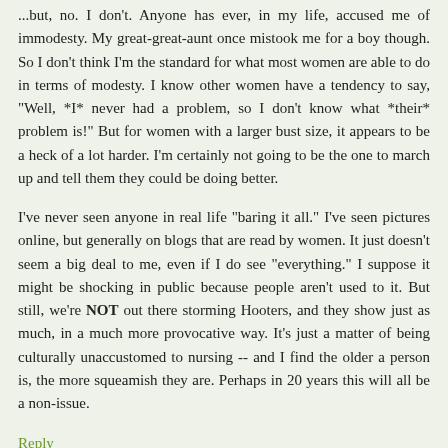...but, no. I don't. Anyone has ever, in my life, accused me of immodesty. My great-great-aunt once mistook me for a boy though. So I don't think I'm the standard for what most women are able to do in terms of modesty. I know other women have a tendency to say, "Well, *I* never had a problem, so I don't know what *their* problem is!" But for women with a larger bust size, it appears to be a heck of a lot harder. I'm certainly not going to be the one to march up and tell them they could be doing better.
I've never seen anyone in real life "baring it all." I've seen pictures online, but generally on blogs that are read by women. It just doesn't seem a big deal to me, even if I do see "everything." I suppose it might be shocking in public because people aren't used to it. But still, we're NOT out there storming Hooters, and they show just as much, in a much more provocative way. It's just a matter of being culturally unaccustomed to nursing -- and I find the older a person is, the more squeamish they are. Perhaps in 20 years this will all be a non-issue.
Reply
Anonymous December 31, 2011 at 8:33 AM